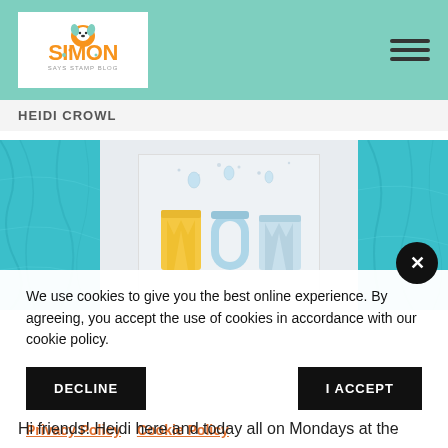Simon Says Stamp Blog
HEIDI CROWL
[Figure (photo): A greeting card with 3D letters spelling 'MOM' (yellow and light blue letters) on a white speckled background, flanked by teal/blue textured paper on both sides.]
We use cookies to give you the best online experience. By agreeing, you accept the use of cookies in accordance with our cookie policy.
DECLINE
I ACCEPT
Privacy Policy   Cookie Policy
Hi friends! Heidi here and today all on Mondays at the